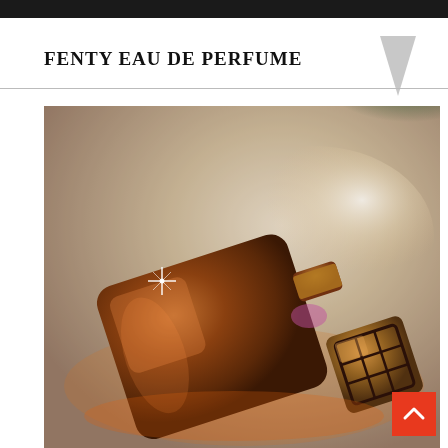FENTY EAU DE PERFUME
[Figure (photo): A amber/brown glass perfume bottle lying on its side on a textured sandy surface. The bottle has a geometric stopper with an engraved maze-like logo pattern. The background features green and warm light color effects. A bright star-like light reflection glints on the bottle.]